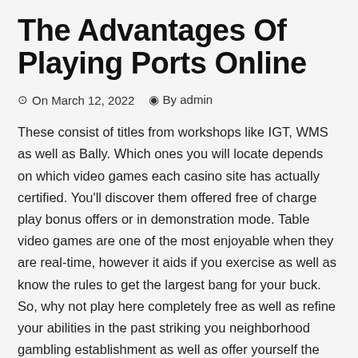The Advantages Of Playing Ports Online
⊙ On March 12, 2022   & By admin
These consist of titles from workshops like IGT, WMS as well as Bally. Which ones you will locate depends on which video games each casino site has actually certified. You'll discover them offered free of charge play bonus offers or in demonstration mode. Table video games are one of the most enjoyable when they are real-time, however it aids if you exercise as well as know the rules to get the largest bang for your buck. So, why not play here completely free as well as refine your abilities in the past striking you neighborhood gambling establishment as well as offer yourself the best opportunity possible of going home with some money in your pocket. Gambling